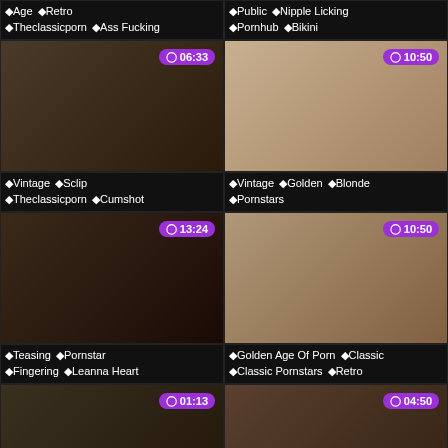Age Retro Theclassicporn Ass Fucking
Public Nipple Licking Pornhub Bikini
[Figure (screenshot): Video thumbnail with duration 06:33]
[Figure (screenshot): Video thumbnail with duration 10:50]
Vintage Sclip Theclassicporn Cumshot
Vintage Golden Blonde Pornstars
[Figure (screenshot): Video thumbnail with duration 13:24]
[Figure (screenshot): Video thumbnail with duration 10:50]
Teasing Pornstar Fingering Leanna Heart
Golden Age Of Porn Classic Classic Pornstars Retro
[Figure (screenshot): Video thumbnail with duration 01:13]
[Figure (screenshot): Video thumbnail with duration 04:50]